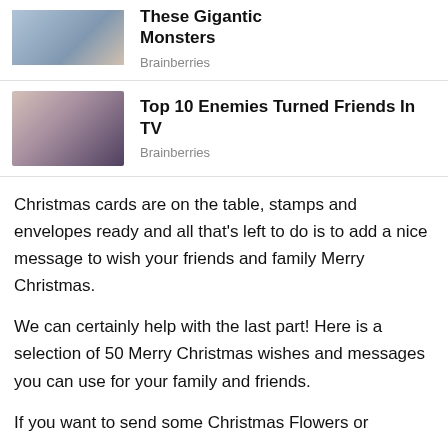[Figure (photo): Partial top card with cropped image and title 'These Gigantic Monsters' and source 'Brainberries']
[Figure (photo): Card with photo of two women at a party, title 'Top 10 Enemies Turned Friends In TV', source 'Brainberries']
Christmas cards are on the table, stamps and envelopes ready and all that's left to do is to add a nice message to wish your friends and family Merry Christmas.
We can certainly help with the last part! Here is a selection of 50 Merry Christmas wishes and messages you can use for your family and friends.
If you want to send some Christmas Flowers or